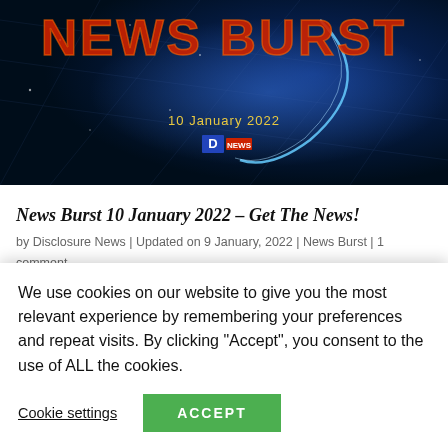[Figure (illustration): News Burst thumbnail image with dark blue background, lightning/network graphics, showing 'NEWS BURST' title text in orange-red, date '10 January 2022' in yellow, and Disclosure News logo]
News Burst 10 January 2022 – Get The News!
by Disclosure News | Updated on 9 January, 2022 | News Burst | 1 comment
News Burst 10 January 2022 News Burst 10 January 2022 – Get The News! By Disclosure News. Clicks on the Ads Keep Us Alive 😊 News Burst 10 January 2022
We use cookies on our website to give you the most relevant experience by remembering your preferences and repeat visits. By clicking "Accept", you consent to the use of ALL the cookies.
Cookie settings
ACCEPT